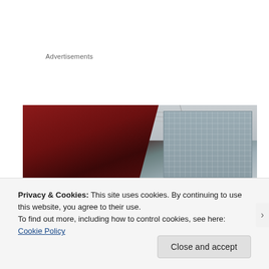Advertisements
[Figure (photo): Photograph taken from below a red awning/canopy looking toward a multi-story building with glass facade, power lines visible against an overcast sky]
Privacy & Cookies: This site uses cookies. By continuing to use this website, you agree to their use.
To find out more, including how to control cookies, see here: Cookie Policy
Close and accept